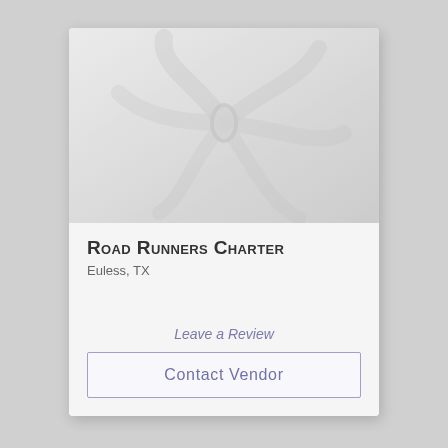[Figure (illustration): Decorative flower/sand dollar watermark graphic in light gray tones on a gray gradient background]
Road Runners Charter
Euless, TX
Leave a Review
Contact Vendor